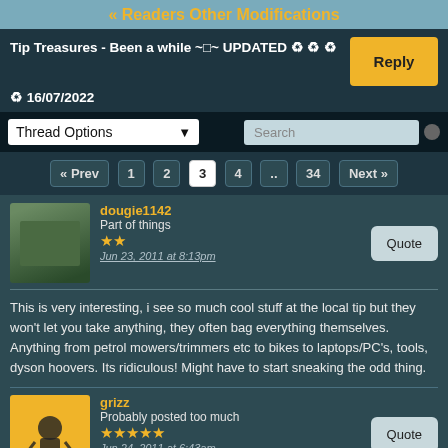« Readers Other Modifications
Tip Treasures - Been a while ~□~ UPDATED ♻ ♻ ♻
♻ 16/07/2022
Thread Options
Search
« Prev  1  2  3  4  ..  34  Next »
dougie1142
Part of things
★★
Jun 23, 2011 at 8:13pm
This is very interesting, i see so much cool stuff at the local tip but they won't let you take anything, they often bag everything themselves. Anything from petrol mowers/trimmers etc to bikes to laptops/PC's, tools, dyson hoovers. Its ridiculous! Might have to start sneaking the odd thing.
grizz
Probably posted too much
★★★★★
Jun 24, 2011 at 6:43am
Sad that so much usefull stuff has to be destroyed, often in the name of